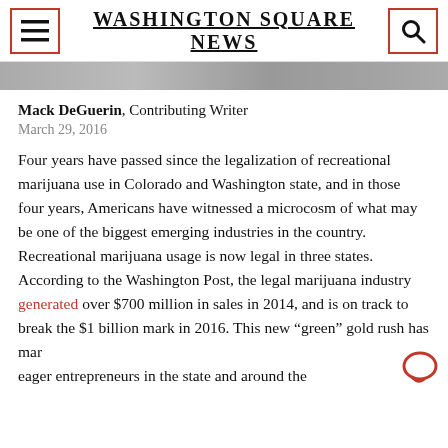Washington Square News
[Figure (photo): Partial photo strip at top of article]
Mack DeGuerin, Contributing Writer
March 29, 2016
Four years have passed since the legalization of recreational marijuana use in Colorado and Washington state, and in those four years, Americans have witnessed a microcosm of what may be one of the biggest emerging industries in the country. Recreational marijuana usage is now legal in three states. According to the Washington Post, the legal marijuana industry generated over $700 million in sales in 2014, and is on track to break the $1 billion mark in 2016. This new “green” gold rush has mar eager entrepreneurs in the state and around the